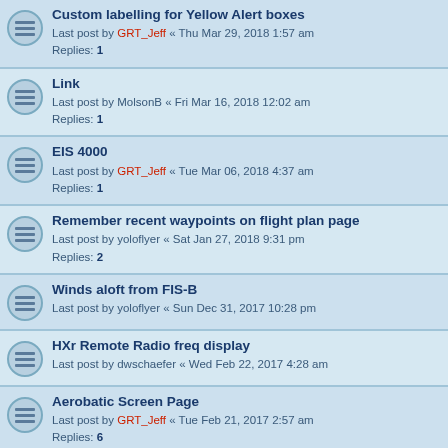Custom labelling for Yellow Alert boxes
Last post by GRT_Jeff « Thu Mar 29, 2018 1:57 am
Replies: 1
Link
Last post by MolsonB « Fri Mar 16, 2018 12:02 am
Replies: 1
EIS 4000
Last post by GRT_Jeff « Tue Mar 06, 2018 4:37 am
Replies: 1
Remember recent waypoints on flight plan page
Last post by yoloflyer « Sat Jan 27, 2018 9:31 pm
Replies: 2
Winds aloft from FIS-B
Last post by yoloflyer « Sun Dec 31, 2017 10:28 pm
HXr Remote Radio freq display
Last post by dwschaefer « Wed Feb 22, 2017 4:28 am
Aerobatic Screen Page
Last post by GRT_Jeff « Tue Feb 21, 2017 2:57 am
Replies: 6
Graphical display of engine limits
Last post by dutchroll « Thu Dec 08, 2016 6:06 am
Replies: 4
AOA Pitot
Last post by MustangUSA « Tue Apr 12, 2016 8:17 pm
Replies: 2
Option to use CHT inputs for other readings.